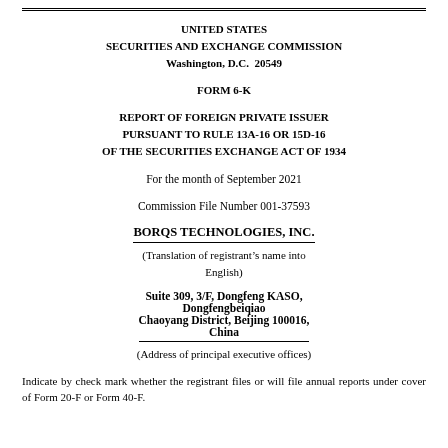UNITED STATES
SECURITIES AND EXCHANGE COMMISSION
Washington, D.C.  20549
FORM 6-K
REPORT OF FOREIGN PRIVATE ISSUER PURSUANT TO RULE 13A-16 OR 15D-16 OF THE SECURITIES EXCHANGE ACT OF 1934
For the month of September 2021
Commission File Number 001-37593
BORQS TECHNOLOGIES, INC.
(Translation of registrant’s name into English)
Suite 309, 3/F, Dongfeng KASO, Dongfengbeiqiao Chaoyang District, Beijing 100016, China
(Address of principal executive offices)
Indicate by check mark whether the registrant files or will file annual reports under cover of Form 20-F or Form 40-F.